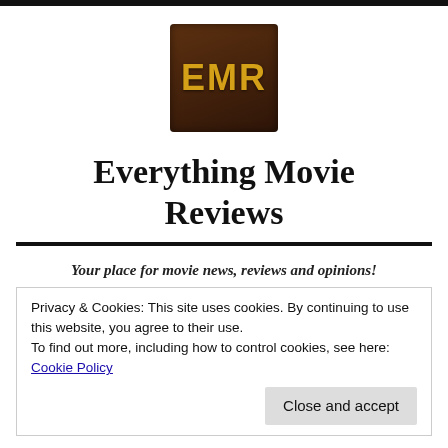[Figure (logo): EMR logo: brown wooden-textured square with gold bold letters EMR]
Everything Movie Reviews
Your place for movie news, reviews and opinions!
Privacy & Cookies: This site uses cookies. By continuing to use this website, you agree to their use.
To find out more, including how to control cookies, see here: Cookie Policy
Close and accept
'JIGSAW' (2017) SPOILER